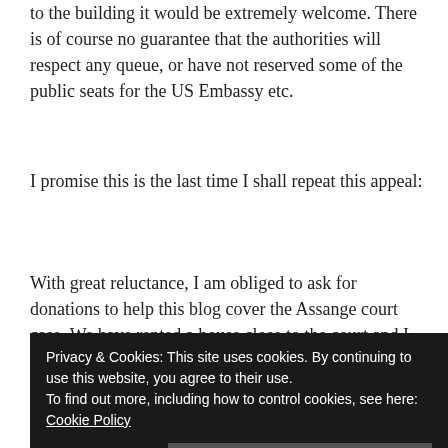to the building it would be extremely welcome. There is of course no guarantee that the authorities will respect any queue, or have not reserved some of the public seats for the US Embassy etc.
I promise this is the last time I shall repeat this appeal:
With great reluctance, I am obliged to ask for donations to help this blog cover the Assange court case. We have rented a house close to the court and I will be trying to queue in the early hours of the morning to get one of the tiny number of seats available to the public at the hearing. The last year has seen constant travels down
Privacy & Cookies: This site uses cookies. By continuing to use this website, you agree to their use.
To find out more, including how to control cookies, see here: Cookie Policy
subscribers at yesterday's rally. Please don't feel reticent